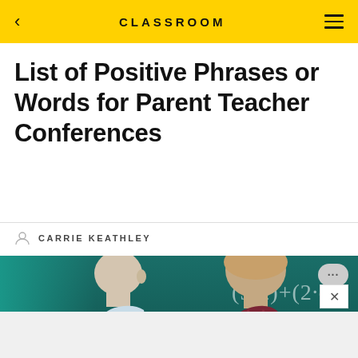CLASSROOM
List of Positive Phrases or Words for Parent Teacher Conferences
CARRIE KEATHLEY
[Figure (photo): A teacher and student standing in front of a chalkboard with math equations written on it, including (5·2)+(2·c) and 4·4–. The teacher is a woman in a dark red/maroon top, and the student is a boy in a light blue shirt.]